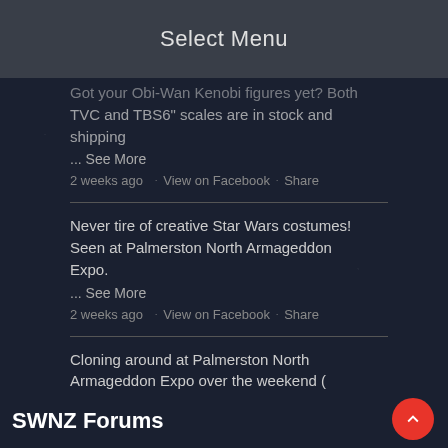Select Menu
Got your Obi-Wan Kenobi figures yet? Both TVC and TBS6" scales are in stock and shipping
... See More
2 weeks ago · View on Facebook · Share
Never tire of creative Star Wars costumes! Seen at Palmerston North Armageddon Expo.
... See More
2 weeks ago · View on Facebook · Share
Cloning around at Palmerston North Armageddon Expo over the weekend ( Outpost 42 Garrison
... See More
2 weeks ago · View on Facebook · Share
SWNZ Forums